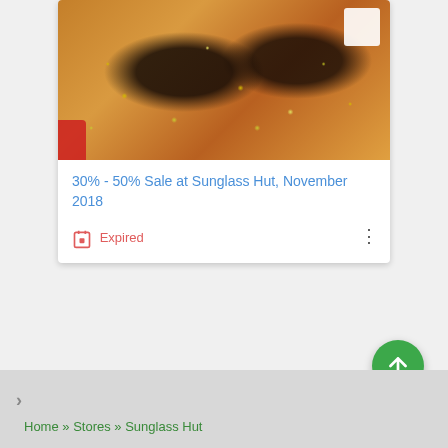[Figure (photo): Sunglasses with gold confetti on a wooden surface, with red ribbon and white gift box in background]
30% - 50% Sale at Sunglass Hut, November 2018
Expired
Home » Stores » Sunglass Hut